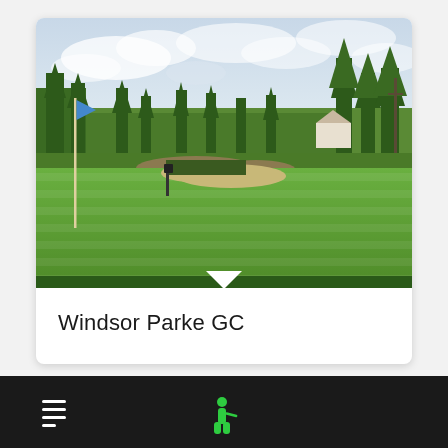[Figure (photo): A golf course scene showing a lush green fairway, a flagstick with a blue flag in the foreground, sand bunkers, trees, and a partly cloudy sky in the background. Windsor Parke GC course.]
Windsor Parke GC
Navigation bar with icons at bottom